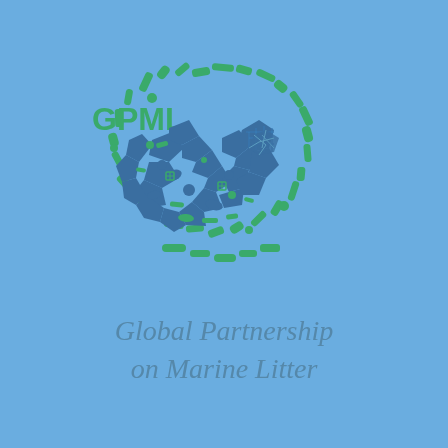[Figure (logo): GPML Global Partnership on Marine Litter logo. A circular swirl shape made up of small marine litter/debris items (bottles, caps, plastic fragments) in dark blue, with green items forming the outer spiral. The wave/swirl contains a stylized ocean wave made of mosaic/broken pieces. Above-left of the circular icon is the text 'GPML' in green.]
Global Partnership
on Marine Litter